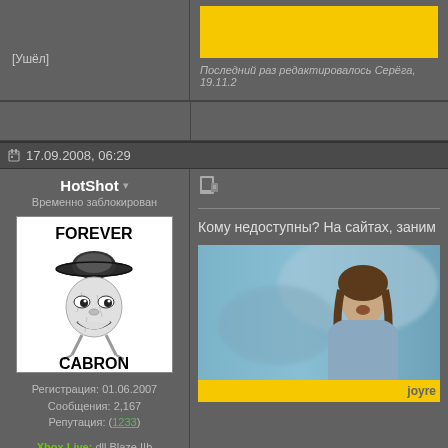[Ушёл]
Последний раз редактировалось Серёга, 19.11.2...
17.09.2008, 06:29
HotShot ▾
Временно заблокирован
[Figure (illustration): Forever Alone Cabron meme illustration - troll face with sombrero, text FOREVER CABRON]
Регистрация: 01.06.2007
Сообщения: 2,167
Репутация: (1233)
Xbox Live: dll Blaze IIb
Кому недоступны? На сайтах, заним...
[Figure (photo): Photo of a person with long hair, blue-toned background]
joyre